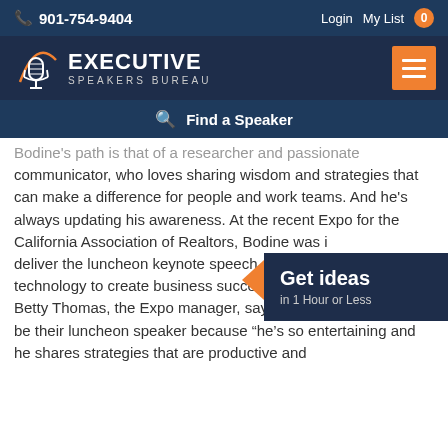901-754-9404  Login  My List 0
[Figure (logo): Executive Speakers Bureau logo with microphone icon and orange arc]
Find a Speaker
Bodine's path is that of a researcher and passionate communicator, who loves sharing wisdom and strategies that can make a difference for people and work teams. And he's always updating his awareness. At the recent Expo for the California Association of Realtors, Bodine was invited to deliver the luncheon keynote speech on using technology to create business success in challenging times. Betty Thomas, the Expo manager, says she chose Bodine to be their luncheon speaker because "he's so entertaining and he shares strategies that are productive and
Get ideas in 1 Hour or Less